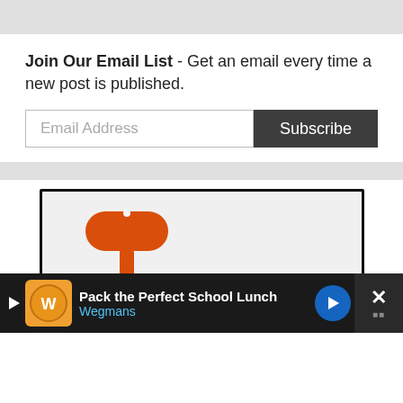Join Our Email List - Get an email every time a new post is published.
Email Address
Subscribe
[Figure (screenshot): Webpage screenshot showing an email subscription form with 'Email Address' input field and dark 'Subscribe' button, followed by a partial image of a red/orange hammer-shaped icon with the word ACCESSORIES in red bold text on a light background. At the bottom is an advertisement bar for Wegmans 'Pack the Perfect School Lunch' with a blue arrow icon and close button.]
Pack the Perfect School Lunch
Wegmans